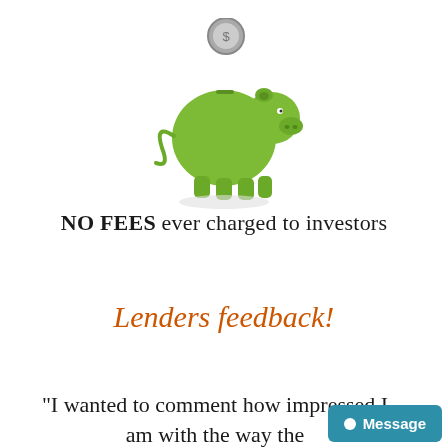[Figure (illustration): Green piggy bank with a coin slot on top, and a coin above it. Small shadow/reflection below.]
NO FEES ever charged to investors
Lenders feedback!
"I wanted to comment how impressed I am with the way the